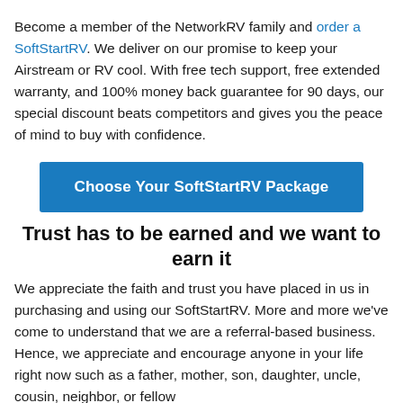Become a member of the NetworkRV family and order a SoftStartRV. We deliver on our promise to keep your Airstream or RV cool. With free tech support, free extended warranty, and 100% money back guarantee for 90 days, our special discount beats competitors and gives you the peace of mind to buy with confidence.
[Figure (other): Blue call-to-action button labeled 'Choose Your SoftStartRV Package']
Trust has to be earned and we want to earn it
We appreciate the faith and trust you have placed in us in purchasing and using our SoftStartRV. More and more we've come to understand that we are a referral-based business. Hence, we appreciate and encourage anyone in your life right now such as a father, mother, son, daughter, uncle, cousin, neighbor, or fellow